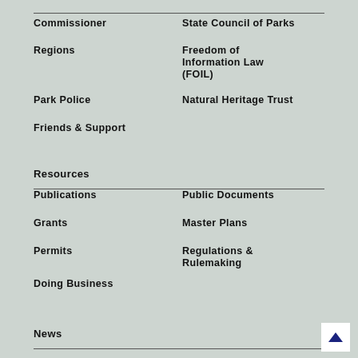Commissioner
State Council of Parks
Regions
Freedom of Information Law (FOIL)
Park Police
Natural Heritage Trust
Friends & Support
Resources
Publications
Public Documents
Grants
Master Plans
Permits
Regulations & Rulemaking
Doing Business
News